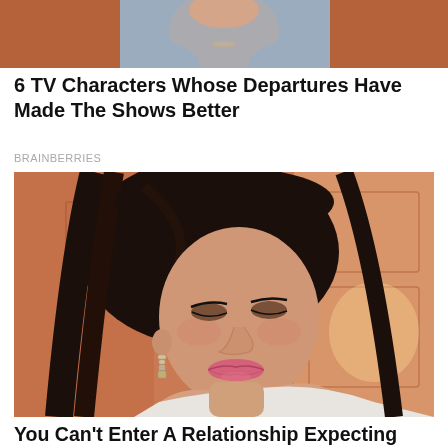[Figure (photo): Partial photo of a person in a grey/blue knit sweater, cropped at the top of the page]
6 TV Characters Whose Departures Have Made The Shows Better
BRAINBERRIES
[Figure (photo): Close-up portrait of a young woman with long dark hair and bangs, wearing chain earrings and a light off-shoulder top, posed against a peach/orange background with a white door]
You Can't Enter A Relationship Expecting Things To Remain Perfect
HERBEAUTY